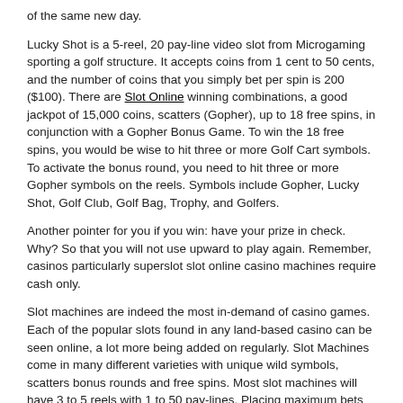of the same new day.
Lucky Shot is a 5-reel, 20 pay-line video slot from Microgaming sporting a golf structure. It accepts coins from 1 cent to 50 cents, and the number of coins that you simply bet per spin is 200 ($100). There are Slot Online winning combinations, a good jackpot of 15,000 coins, scatters (Gopher), up to 18 free spins, in conjunction with a Gopher Bonus Game. To win the 18 free spins, you would be wise to hit three or more Golf Cart symbols. To activate the bonus round, you need to hit three or more Gopher symbols on the reels. Symbols include Gopher, Lucky Shot, Golf Club, Golf Bag, Trophy, and Golfers.
Another pointer for you if you win: have your prize in check. Why? So that you will not use upward to play again. Remember, casinos particularly superslot slot online casino machines require cash only.
Slot machines are indeed the most in-demand of casino games. Each of the popular slots found in any land-based casino can be seen online, a lot more being added on regularly. Slot Machines come in many different varieties with unique wild symbols, scatters bonus rounds and free spins. Most slot machines will have 3 to 5 reels with 1 to 50 pay-lines. Placing maximum bets on all pay-lines of a slot machine will greatly increase the chances of you winning funds or just a jackpot. Video slot games can be bought in both download and flash versions on the other hand in live dealer activities.